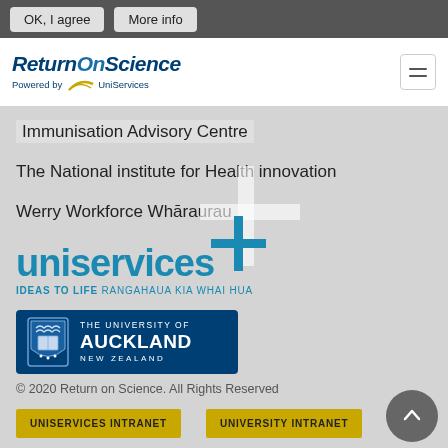OK, I agree | More info
[Figure (logo): Return On Science logo powered by UniServices with swoosh graphic]
Immunisation Advisory Centre
The National institute for Health innovation
Werry Workforce Whāraurau
[Figure (logo): UniServices logo with plus symbol and tagline IDEAS TO LIFE RANGAHAUA KIA WHAI HUA]
[Figure (logo): The University of Auckland New Zealand logo with crest]
© 2020 Return on Science. All Rights Reserved
UNISERVICES INTRANET
UNIVERSITY INTRANET